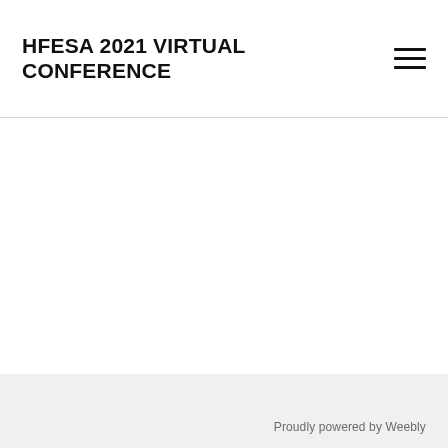HFESA 2021 VIRTUAL CONFERENCE
Proudly powered by Weebly